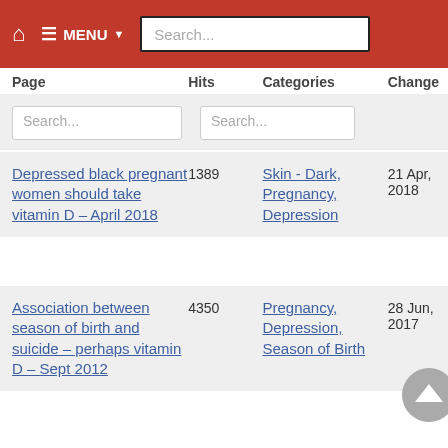MENU  Search...
| Page | Hits | Categories | Change |
| --- | --- | --- | --- |
| Depressed black pregnant women should take vitamin D – April 2018 | 1389 | Skin - Dark, Pregnancy, Depression | 21 Apr, 2018 |
| Association between season of birth and suicide – perhaps vitamin D – Sept 2012 | 4350 | Pregnancy, Depression, Season of Birth | 28 Jun, 2017 |